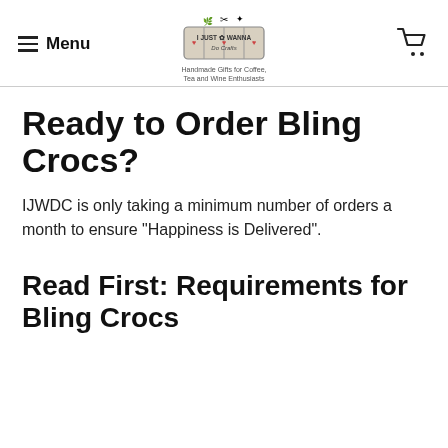Menu | I Just Wanna Do Crafts — Handmade Gifts for Coffee, Tea and Wine Enthusiasts
Ready to Order Bling Crocs?
IJWDC is only taking a minimum number of orders a month to ensure "Happiness is Delivered".
Read First: Requirements for Bling Crocs